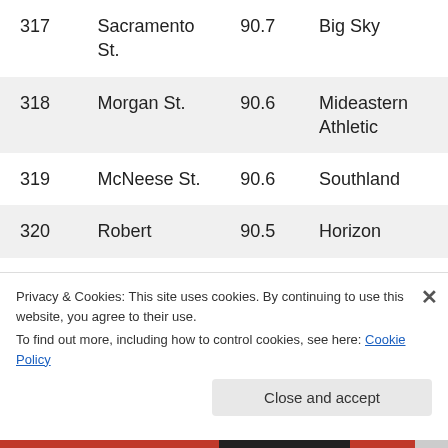| Rank | School | Score | Conference |
| --- | --- | --- | --- |
| 317 | Sacramento St. | 90.7 | Big Sky |
| 318 | Morgan St. | 90.6 | Mideastern Athletic |
| 319 | McNeese St. | 90.6 | Southland |
| 320 | Robert | 90.5 | Horizon |
Privacy & Cookies: This site uses cookies. By continuing to use this website, you agree to their use.
To find out more, including how to control cookies, see here: Cookie Policy